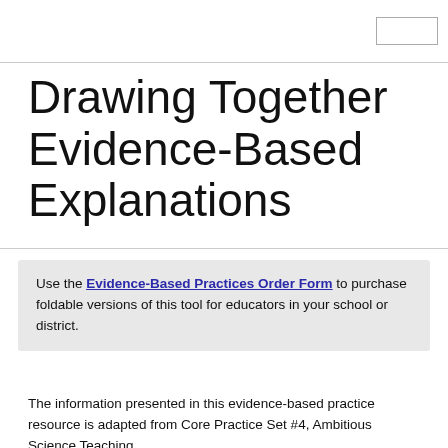Drawing Together Evidence-Based Explanations
Use the Evidence-Based Practices Order Form to purchase foldable versions of this tool for educators in your school or district.
The information presented in this evidence-based practice resource is adapted from Core Practice Set #4, Ambitious Science Teaching,